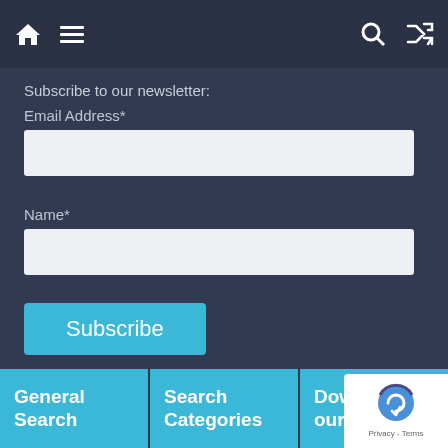Navigation bar with home icon, hamburger menu, search icon, and shuffle icon
Subscribe to our newsletter:
Email Address*
Name*
Subscribe
General Search
Search Categories
Download our App